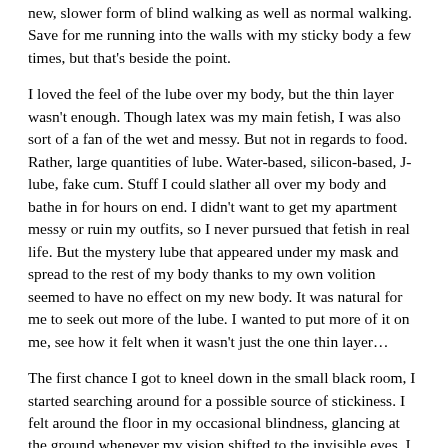new, slower form of blind walking as well as normal walking. Save for me running into the walls with my sticky body a few times, but that's beside the point.
I loved the feel of the lube over my body, but the thin layer wasn't enough. Though latex was my main fetish, I was also sort of a fan of the wet and messy. But not in regards to food. Rather, large quantities of lube. Water-based, silicon-based, J-lube, fake cum. Stuff I could slather all over my body and bathe in for hours on end. I didn't want to get my apartment messy or ruin my outfits, so I never pursued that fetish in real life. But the mystery lube that appeared under my mask and spread to the rest of my body thanks to my own volition seemed to have no effect on my new body. It was natural for me to seek out more of the lube. I wanted to put more of it on me, see how it felt when it wasn't just the one thin layer…
The first chance I got to kneel down in the small black room, I started searching around for a possible source of stickiness. I felt around the floor in my occasional blindness, glancing at the ground whenever my vision shifted to the invisible eyes. I couldn't see or feel anything at first. Several minutes later, and I was about to resign to the fate that there was nothing that could sate my desire for a continuous, sticky lubing. But then I found it.